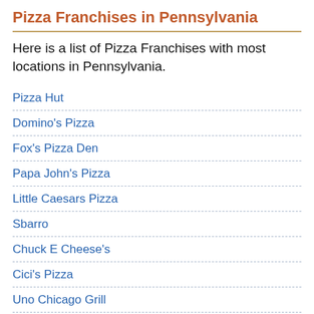Pizza Franchises in Pennsylvania
Here is a list of Pizza Franchises with most locations in Pennsylvania.
Pizza Hut
Domino's Pizza
Fox's Pizza Den
Papa John's Pizza
Little Caesars Pizza
Sbarro
Chuck E Cheese's
Cici's Pizza
Uno Chicago Grill
Villa Pizza